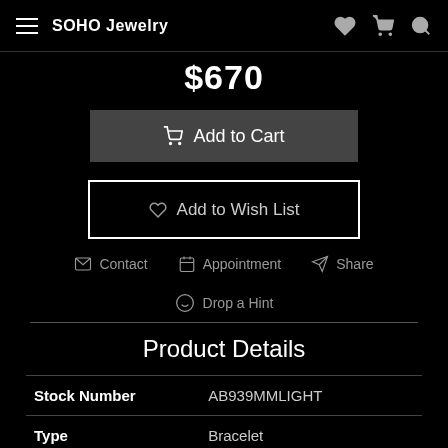SOHO Jewelry
$670
Add to Cart
Add to Wish List
Contact  Appointment  Share
Drop a Hint
Product Details
|  |  |
| --- | --- |
| Stock Number | AB939MMLIGHT |
| Type | Bracelet |